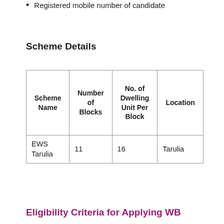Registered mobile number of candidate
Scheme Details
| Scheme Name | Number of Blocks | No. of Dwelling Unit Per Block | Location |
| --- | --- | --- | --- |
| EWS Tarulia | 11 | 16 | Tarulia |
Eligibility Criteria for Applying WB